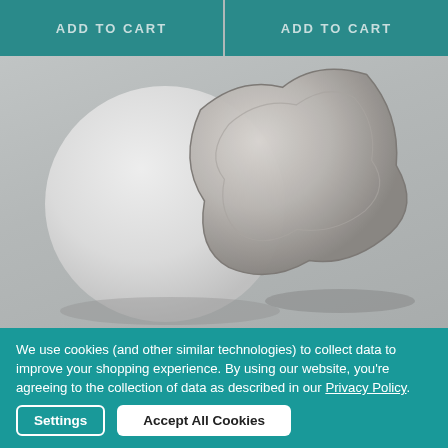ADD TO CART
ADD TO CART
[Figure (photo): Two product images on a grey background: a white circular plate/disc on the left and a silver/grey square plate with wavy edges on the right.]
We use cookies (and other similar technologies) to collect data to improve your shopping experience. By using our website, you're agreeing to the collection of data as described in our Privacy Policy.
Settings
Accept All Cookies